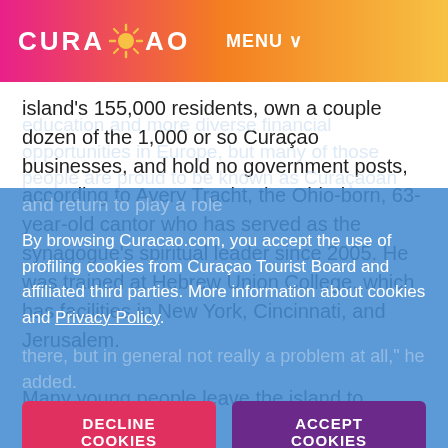CURAÇAO  MENU ∨
island's 155,000 residents, own a couple dozen of the 1,000 or so Curaçao businesses, and hold no government posts, according to Avery Tracht, the Ohio-born, 63-year-old cantor who has served as the synagogue's spiritual leader since 2005. He was trained at Hebrew Union College, which has facilities in New York, Cincinnati, and Jerusalem.
Many young people leave the island to pursue higher education and more diverse financial opportunities in Europe, but many of those people are proud to be known as Curaçaoan and return to play a role here or there, but in general not really a problem at all," he added.
By browsing Curacao.com, you accept the use of profiling cookies from Curaçao Tourist Board and affiliated third parties. More information about cookies and Privacy Policy.
Most island residents are Catholic, but you'll find…